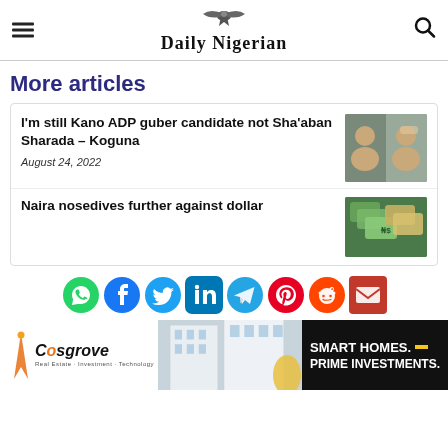Daily Nigerian
More articles
I'm still Kano ADP guber candidate not Sha'aban Sharada – Koguna
August 24, 2022
[Figure (photo): Two men side by side, political figures related to Kano ADP story]
Naira nosedives further against dollar
[Figure (photo): Nigerian naira and dollar bills]
[Figure (infographic): Social media sharing icons: WhatsApp, Facebook, Twitter, LinkedIn, Telegram, Pinterest, Reddit, Email]
[Figure (infographic): Cosgrove advertisement banner: Smart Homes. Prime Investments.]